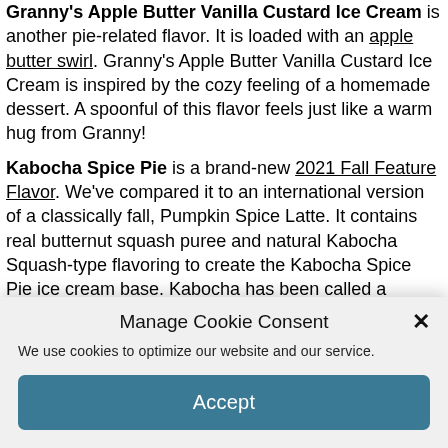Granny's Apple Butter Vanilla Custard Ice Cream is another pie-related flavor. It is loaded with an apple butter swirl. Granny's Apple Butter Vanilla Custard Ice Cream is inspired by the cozy feeling of a homemade dessert. A spoonful of this flavor feels just like a warm hug from Granny!
Kabocha Spice Pie is a brand-new 2021 Fall Feature Flavor. We've compared it to an international version of a classically fall, Pumpkin Spice Latte. It contains real butternut squash puree and natural Kabocha Squash-type flavoring to create the Kabocha Spice Pie ice cream base. Kabocha has been called a Japanese pumpkin with a sweet potato-like flavor. To add in some pie delight, we include a textured variegate with Pie Crust Pieces to
Manage Cookie Consent
We use cookies to optimize our website and our service.
Accept